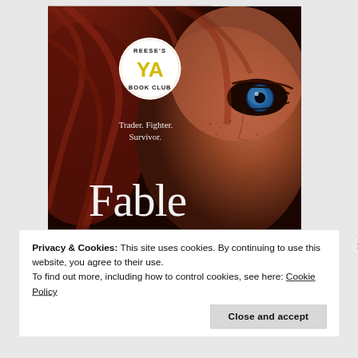[Figure (illustration): Book cover of 'Fable' showing a close-up of a young woman with red/auburn hair, blue eye with a globe reflection, and freckles. Text on cover reads 'Trader. Fighter. Survivor.' and 'Fable'. A circular badge in the upper left reads 'Reese's YA Book Club'.]
Privacy & Cookies: This site uses cookies. By continuing to use this website, you agree to their use.
To find out more, including how to control cookies, see here: Cookie Policy
Close and accept